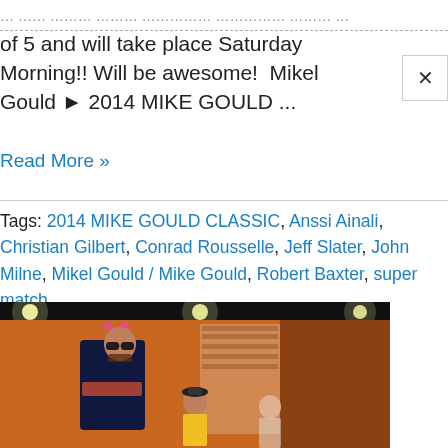of 5 and will take place Saturday Morning!! Will be awesome!  Mikel Gould ► 2014 MIKE GOULD ...
Read More »
Tags: 2014 MIKE GOULD CLASSIC, Anssi Ainali, Christian Gilbert, Conrad Rousselle, Jeff Slater, John Milne, Mikel Gould / Mike Gould, Robert Baxter, super match
[Figure (photo): Indoor photo showing a tall man wearing sunglasses and a pink crown with an ARM wrestling shirt, standing in a room with an orange/wood-paneled interior. Two other people are partially visible in the background.]